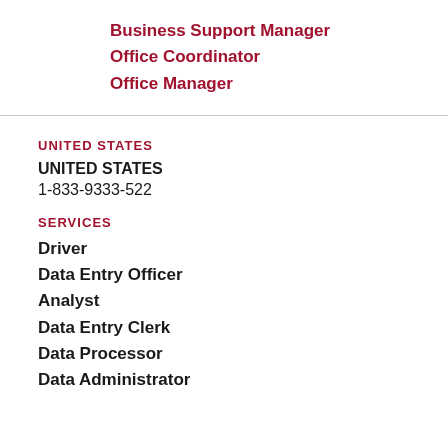Business Support Manager
Office Coordinator
Office Manager
UNITED STATES
UNITED STATES
1-833-9333-522
SERVICES
Driver
Data Entry Officer
Analyst
Data Entry Clerk
Data Processor
Data Administrator